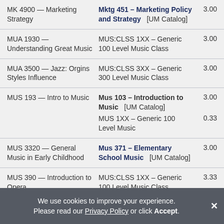| Course | Equivalent | Credits |
| --- | --- | --- |
| MK 4900 — Marketing Strategy | Mktg 451 – Marketing Policy and Strategy [UM Catalog] | 3.00 |
| MUA 1930 — Understanding Great Music | MUS:CLSS 1XX – Generic 100 Level Music Class | 3.00 |
| MUA 3500 — Jazz: Orgins Styles Influence | MUS:CLSS 3XX – Generic 300 Level Music Class | 3.00 |
| MUS 193 — Intro to Music | Mus 103 – Introduction to Music [UM Catalog] | 3.00 |
| MUS 193 — Intro to Music | MUS 1XX – Generic 100 Level Music | 0.33 |
| MUS 3320 — General Music in Early Childhood | Mus 371 – Elementary School Music [UM Catalog] | 3.00 |
| MUS 390 — Introduction to Opera | MUS:CLSS 1XX – Generic 100 Level Music Class | 3.33 |
We use cookies to improve your experience. Please read our Privacy Policy or click Accept.